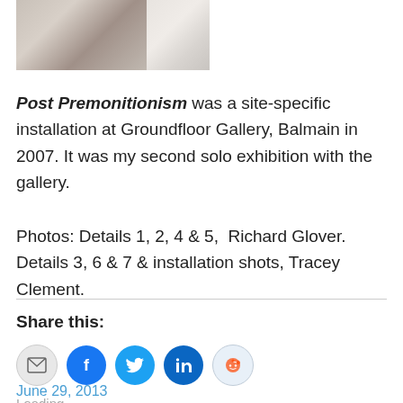[Figure (photo): Two photos side by side showing white sculptural installation pieces on dark surfaces]
Post Premonitionism was a site-specific installation at Groundfloor Gallery, Balmain in 2007. It was my second solo exhibition with the gallery.
Photos: Details 1, 2, 4 & 5,  Richard Glover. Details 3, 6 & 7 & installation shots, Tracey Clement.
Share this:
[Figure (infographic): Social share icons: email, Facebook, Twitter, LinkedIn, Reddit]
Loading...
June 29, 2013